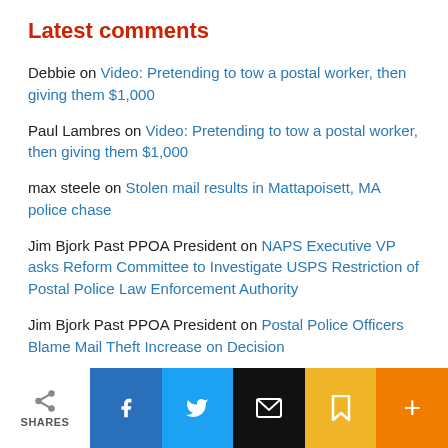Latest comments
Debbie on Video: Pretending to tow a postal worker, then giving them $1,000
Paul Lambres on Video: Pretending to tow a postal worker, then giving them $1,000
max steele on Stolen mail results in Mattapoisett, MA police chase
Jim Bjork Past PPOA President on NAPS Executive VP asks Reform Committee to Investigate USPS Restriction of Postal Police Law Enforcement Authority
Jim Bjork Past PPOA President on Postal Police Officers Blame Mail Theft Increase on Decision
SHARES | Facebook | Twitter | Email | Bookmark | More